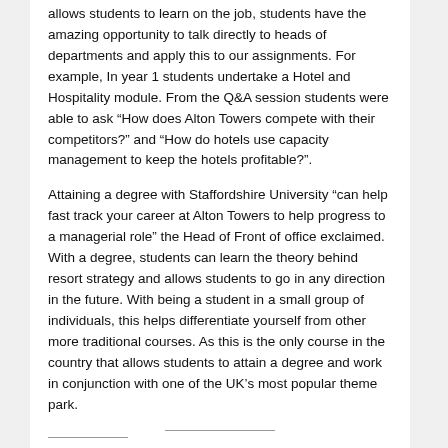allows students to learn on the job, students have the amazing opportunity to talk directly to heads of departments and apply this to our assignments. For example, In year 1 students undertake a Hotel and Hospitality module.  From the Q&A session students were able to ask “How does Alton Towers compete with their competitors?” and “How do hotels use capacity management to keep the hotels profitable?”.
Attaining a degree with Staffordshire University “can help fast track your career at Alton Towers to help progress to a managerial role” the Head of Front of office exclaimed. With a degree, students can learn the theory behind resort strategy and allows students to go in any direction in the future. With being a student in a small group of individuals, this helps differentiate yourself from other more traditional courses. As this is the only course in the country that allows students to attain a degree and work in conjunction with one of the UK’s most popular theme park.